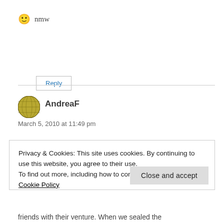🙂 nmw
Reply
AndreaF
March 5, 2010 at 11:49 pm
Privacy & Cookies: This site uses cookies. By continuing to use this website, you agree to their use.
To find out more, including how to control cookies, see here: Cookie Policy
Close and accept
friends with their venture. When we sealed the